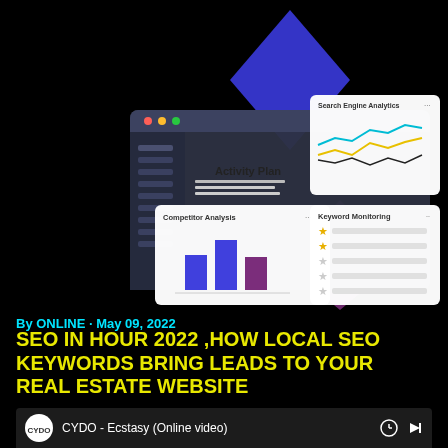[Figure (illustration): Hero illustration showing SEO software dashboards: Activity Plan browser window, Competitor Analysis bar chart panel, Search Engine Analytics line chart panel, and Keyword Monitoring star-rating panel, arranged on a dark background with blue and purple geometric diamond shapes.]
By ONLINE · May 09, 2022
SEO IN HOUR 2022 ,HOW LOCAL SEO KEYWORDS BRING LEADS TO YOUR REAL ESTATE WEBSITE
Share    Post a Comment
[Figure (screenshot): Bottom video bar showing CYDO logo and text 'CYDO - Ecstasy (Online video)' with clock and share icons on the right.]